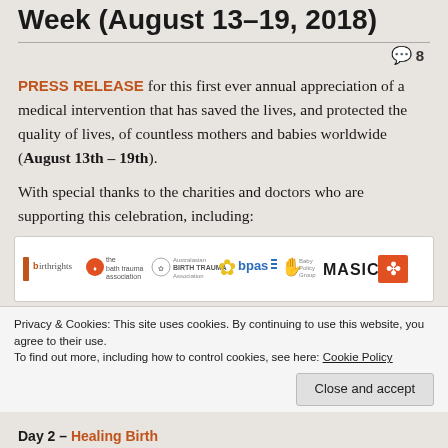Week (August 13–19, 2018)
8 comments
PRESS RELEASE for this first ever annual appreciation of a medical intervention that has saved the lives, and protected the quality of lives, of countless mothers and babies worldwide (August 13th – 19th).
With special thanks to the charities and doctors who are supporting this celebration, including:
[Figure (logo): Row of logos: birthrights, birth trauma association, Australian Birth Trauma Association, bpas, Baby Policy Group, MASIC, and another charity logo]
Privacy & Cookies: This site uses cookies. By continuing to use this website, you agree to their use.
To find out more, including how to control cookies, see here: Cookie Policy
Close and accept
Day 2 – Healing Birth